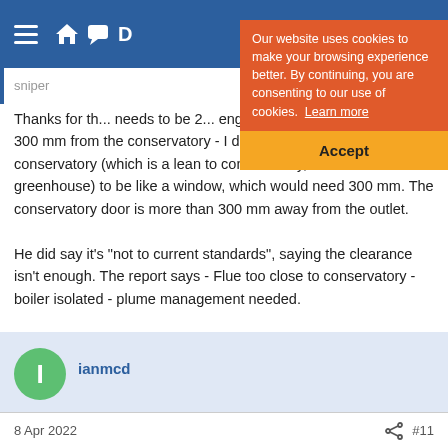Navigation bar with hamburger menu and icons
Our website uses cookies to make your browsing experience better. By continuing, you are consenting to our use of cookies. Learn more
Accept
Thanks for th... needs to be 2... engineer thought it needed to be 300 mm from the conservatory - I don't know if he considered my conservatory (which is a lean to conservatory, similar in build to a greenhouse) to be like a window, which would need 300 mm. The conservatory door is more than 300 mm away from the outlet.

He did say it's "not to current standards", saying the clearance isn't enough. The report says - Flue too close to conservatory - boiler isolated - plume management needed.
ianmcd
8 Apr 2022  #11